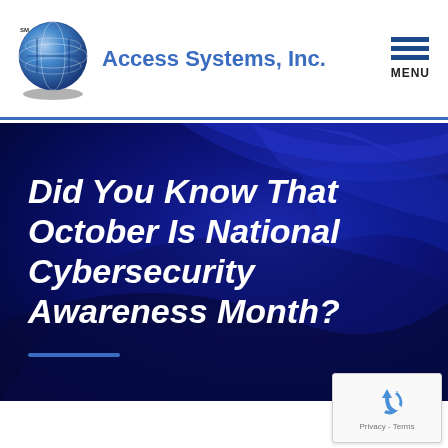Access Systems, Inc. | MENU
[Figure (illustration): Large blue banner with swirling abstract wave shapes in dark navy and blue tones. Bold white italic text reads: Did You Know That October Is National Cybersecurity Awareness Month? A short blue horizontal divider line appears below the text.]
Did You Know That October Is National Cybersecurity Awareness Month?
[Figure (logo): Google reCAPTCHA widget icon with blue recycling arrows, and text 'Privacy - Terms' below.]